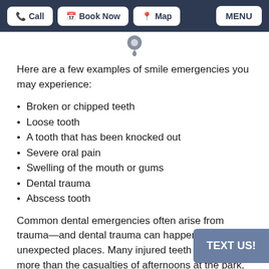Call  Book Now  Map  MENU
[Figure (illustration): Map location pin icon in gray]
Here are a few examples of smile emergencies you may experience:
Broken or chipped teeth
Loose tooth
A tooth that has been knocked out
Severe oral pain
Swelling of the mouth or gums
Dental trauma
Abscess tooth
Common dental emergencies often arise from trauma—and dental trauma can happen in the most unexpected places. Many injured teeth are nothing more than the casualties of afternoons at the park, or overcooked dinners. We know that if you damage a tooth,
[Figure (other): TEXT US! button overlay in blue-gray]